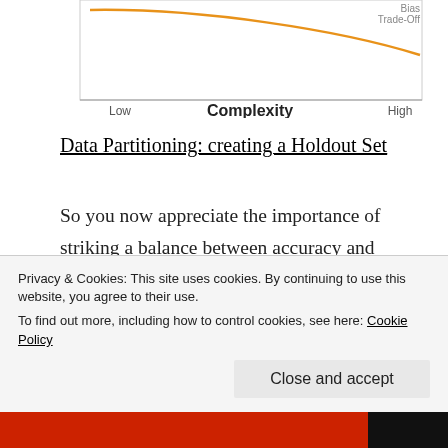[Figure (continuous-plot): Partial view of a bias trade-off chart showing complexity on x-axis (Low to High) and curves, with 'Bias Trade-Off' label visible at top, and axis label 'Complexity' at bottom.]
Data Partitioning: creating a Holdout Set
So you now appreciate the importance of striking a balance between accuracy and simplicity. That’s all very nice conceptually, but how might you go about building a well-balanced prediction machine?
The bias trade-off is only apparent when the machine is given new data!  “If only I had practiced against unseen test data earlier” the statistician might say.
Privacy & Cookies: This site uses cookies. By continuing to use this website, you agree to their use.
To find out more, including how to control cookies, see here: Cookie Policy